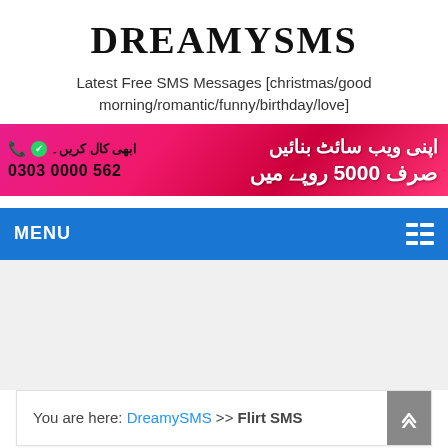DREAMYSMS
Latest Free SMS Messages [christmas/good morning/romantic/funny/birthday/love]
[Figure (infographic): Pink/red gradient ad banner with Urdu text: 'اپنی ویب سائٹ بنائیں' (top right) and 'صرف 5000 روپے میں' (bottom right), and on the left: phone and WhatsApp icons with 'ابھی کال کریں' and '0303 0000 562']
MENU
You are here: DreamySMS >> Flirt SMS